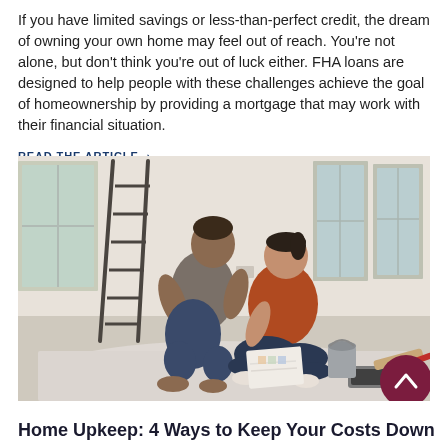If you have limited savings or less-than-perfect credit, the dream of owning your own home may feel out of reach. You're not alone, but don't think you're out of luck either. FHA loans are designed to help people with these challenges achieve the goal of homeownership by providing a mortgage that may work with their financial situation.
READ THE ARTICLE >
[Figure (photo): A couple sitting on the floor of a room being renovated, surrounded by drop cloths, paint supplies, and a ladder. The woman in an orange shirt is smiling while the man in a gray shirt leans toward her.]
Home Upkeep: 4 Ways to Keep Your Costs Down